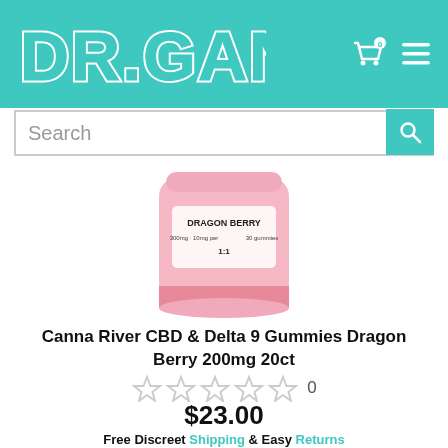[Figure (logo): DR.GANJA logo in bubble/outlined white text on teal background]
[Figure (screenshot): Shopping cart icon with 0 count and hamburger menu icon in white on teal header]
[Figure (screenshot): Search bar with placeholder text 'Search' and teal search button with magnifier icon]
[Figure (photo): A pink jar of Canna River CBD gummies labeled Dragon Berry, partially visible at top of product area]
Canna River CBD & Delta 9 Gummies Dragon Berry 200mg 20ct
[Figure (other): Five empty star rating icons with review count 0]
$23.00
Free Discreet Shipping & Easy Returns
[Figure (screenshot): Teal Add To Cart button]
[Figure (photo): Partial view of white pill bottle cap at the bottom of the page]
[Figure (screenshot): Teal scroll-to-top button with up arrow at bottom right]